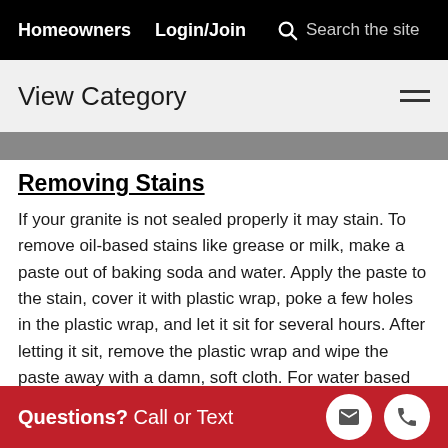Homeowners  Login/Join  Search the site
View Category
Removing Stains
If your granite is not sealed properly it may stain. To remove oil-based stains like grease or milk, make a paste out of baking soda and water. Apply the paste to the stain, cover it with plastic wrap, poke a few holes in the plastic wrap, and let it sit for several hours. After letting it sit, remove the plastic wrap and wipe the paste away with a damn, soft cloth. For water based stains such as juice, coffee, and wine combine baking soda and
Questions? Call or Text